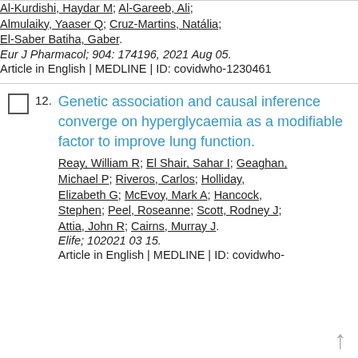Al-Kurdishi, Haydar M; Al-Gareeb, Ali; Almulaiky, Yaaser Q; Cruz-Martins, Natália; El-Saber Batiha, Gaber. Eur J Pharmacol; 904: 174196, 2021 Aug 05. Article in English | MEDLINE | ID: covidwho-1230461
12. Genetic association and causal inference converge on hyperglycaemia as a modifiable factor to improve lung function. Reay, William R; El Shair, Sahar I; Geaghan, Michael P; Riveros, Carlos; Holliday, Elizabeth G; McEvoy, Mark A; Hancock, Stephen; Peel, Roseanne; Scott, Rodney J; Attia, John R; Cairns, Murray J. Elife; 102021 03 15. Article in English | MEDLINE | ID: covidwho-